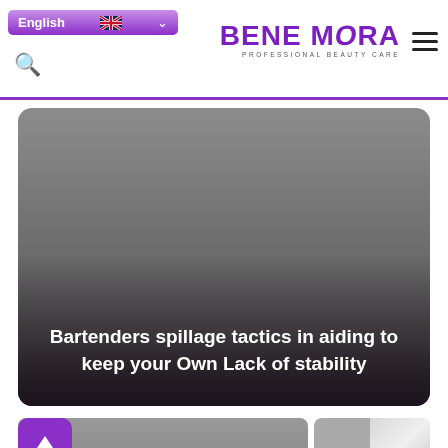BENE MORA — PROFESSIONAL BEAUTY CARE
[Figure (screenshot): Large hero image area with dark gray gradient background and white bold text overlay reading 'Bartenders spillage tactics in aiding to keep your Own Lack of stability']
Bartenders spillage tactics in aiding to keep your Own Lack of stability
[Figure (screenshot): Bottom strip showing a purple back-to-top button with upward arrow, and two gray thumbnail image previews]